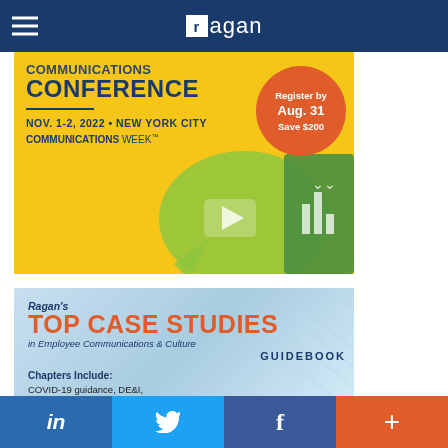Ragan
[Figure (illustration): Conference advertisement banner: yellow background with navy blue text 'CONFERENCE', NOV. 1-2, 2022 • NEW YORK CITY, COMMUNICATIONS WEEK, orange circle with 'Register by Aug. 31 Save $200', green graphic shapes with icons]
[Figure (illustration): Ragan's Top Case Studies in Employee Communications & Culture Guidebook advertisement on light blue background, includes 'Chapters Include: COVID-19 guidance, DE&I,']
in  f  +